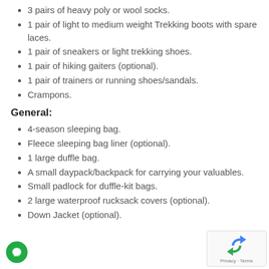3 pairs of heavy poly or wool socks.
1 pair of light to medium weight Trekking boots with spare laces.
1 pair of sneakers or light trekking shoes.
1 pair of hiking gaiters (optional).
1 pair of trainers or running shoes/sandals.
Crampons.
General:
4-season sleeping bag.
Fleece sleeping bag liner (optional).
1 large duffle bag.
A small daypack/backpack for carrying your valuables.
Small padlock for duffle-kit bags.
2 large waterproof rucksack covers (optional).
Down Jacket (optional).